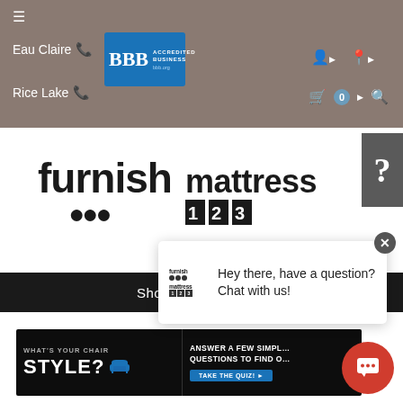≡ Eau Claire [phone] | Rice Lake [phone] | BBB Accredited Business | [user icon] | [location icon] | [cart 0] | [search]
[Figure (logo): Furnish 666 and Mattress 123 combined logo]
[Figure (screenshot): Chat popup: Hey there, have a question? Chat with us!]
Shop
[Figure (infographic): Banner ad: What's your chair style? Answer a few simple questions to find out. Take the quiz!]